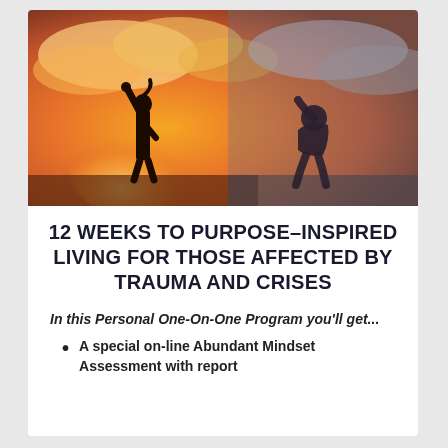[Figure (photo): Composite photo showing two silhouettes against an orange sunset sky: one person raising a fist in triumph on the left, another person hunched over in distress on the right.]
12 WEEKS TO PURPOSE-INSPIRED LIVING FOR THOSE AFFECTED BY TRAUMA AND CRISES
In this Personal One-On-One Program you'll get...
A special on-line Abundant Mindset Assessment with report